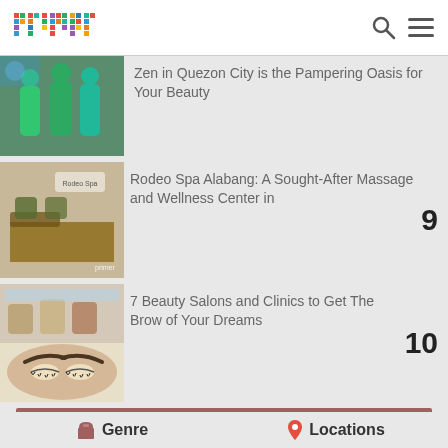primer
Zen in Quezon City is the Pampering Oasis for Your Beauty
Rodeo Spa Alabang: A Sought-After Massage and Wellness Center in
7 Beauty Salons and Clinics to Get The Brow of Your Dreams
BEAUTY & FASHION CATEGORY
Genre
Locations